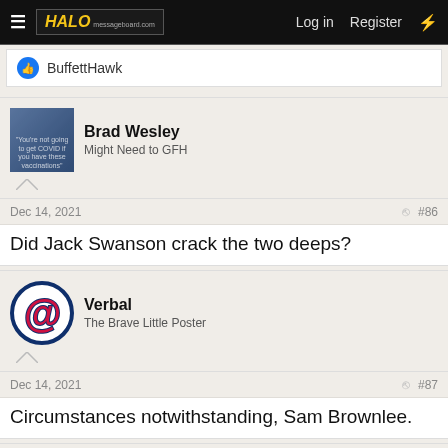HALO | Log in | Register
BuffettHawk
Brad Wesley
Might Need to GFH
Dec 14, 2021  #86
Did Jack Swanson crack the two deeps?
Verbal
The Brave Little Poster
Dec 14, 2021  #87
Circumstances notwithstanding, Sam Brownlee.
Fritz Fequiere
Has a Master's from ISU worth millions